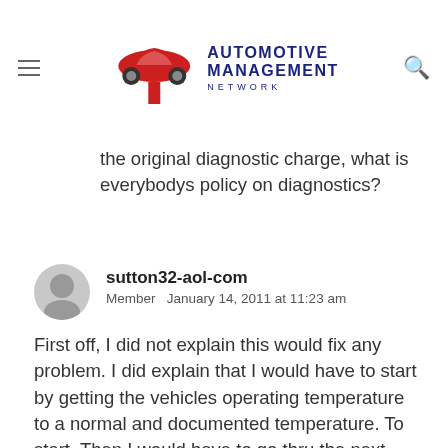[Figure (logo): Automotive Management Network logo with red car icon and blue text]
the original diagnostic charge, what is everybodys policy on diagnostics?
sutton32-aol-com
Member  January 14, 2011 at 11:23 am

First off, I did not explain this would fix any problem. I did explain that I would have to start by getting the vehicles operating temperature to a normal and documented temperature. To start. Then I would have to go thru the next steps of diagnostics. When I finished with the t-stat